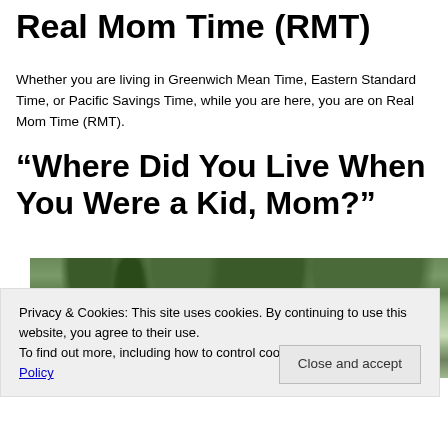Real Mom Time (RMT)
Whether you are living in Greenwich Mean Time, Eastern Standard Time, or Pacific Savings Time, while you are here, you are on Real Mom Time (RMT).
“Where Did You Live When You Were a Kid, Mom?”
[Figure (photo): Outdoor photo showing tall trees with green foliage against a bright sky]
Privacy & Cookies: This site uses cookies. By continuing to use this website, you agree to their use.
To find out more, including how to control cookies, see here: Cookie Policy
Close and accept